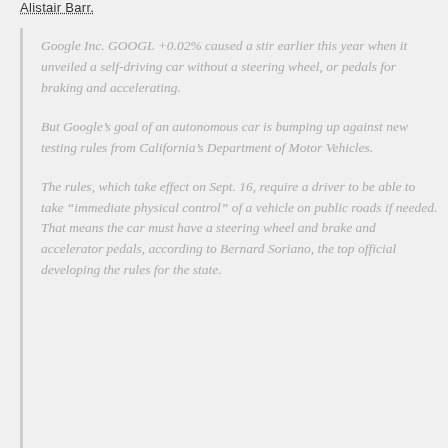Alistair Barr.
Google Inc. GOOGL +0.02% caused a stir earlier this year when it unveiled a self-driving car without a steering wheel, or pedals for braking and accelerating.
But Google’s goal of an autonomous car is bumping up against new testing rules from California’s Department of Motor Vehicles.
The rules, which take effect on Sept. 16, require a driver to be able to take “immediate physical control” of a vehicle on public roads if needed. That means the car must have a steering wheel and brake and accelerator pedals, according to Bernard Soriano, the top official developing the rules for the state.